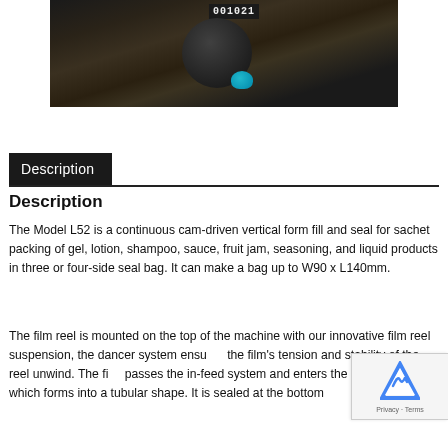[Figure (photo): Photo of the Model L52 machine component, showing a dark mechanical part with a blue cap and a numeric display reading 001021]
Description
Description
The Model L52 is a continuous cam-driven vertical form fill and seal for sachet packing of gel, lotion, shampoo, sauce, fruit jam, seasoning, and liquid products in three or four-side seal bag. It can make a bag up to W90 x L140mm.
The film reel is mounted on the top of the machine with our innovative film reel suspension, the dancer system ensures the film's tension and stability of the reel unwind. The film passes the in-feed system and enters the forming device which forms into a tubular shape. It is sealed at the bottom